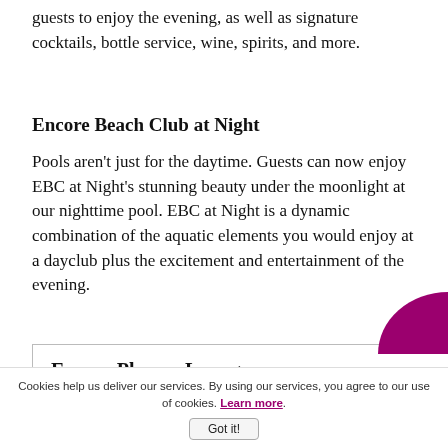guests to enjoy the evening, as well as signature cocktails, bottle service, wine, spirits, and more.
Encore Beach Club at Night
Pools aren't just for the daytime. Guests can now enjoy EBC at Night's stunning beauty under the moonlight at our nighttime pool. EBC at Night is a dynamic combination of the aquatic elements you would enjoy at a dayclub plus the excitement and entertainment of the evening.
Encore Players Lounge
Cookies help us deliver our services. By using our services, you agree to our use of cookies. Learn more.
Got it!